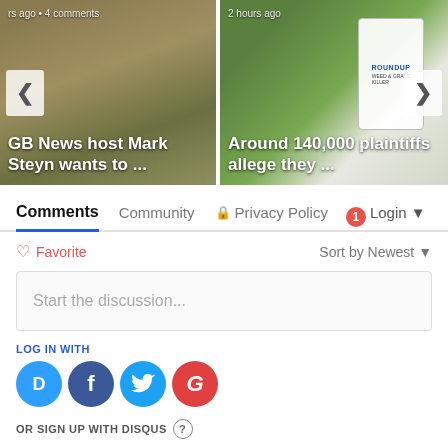[Figure (screenshot): Carousel with two news story cards. Left card: football players tackling image, text 'rs ago • 4 comments', headline 'GB News host Mark Steyn wants to ...'. Right card: Roundup herbicide bottle on grass, text '2 hours ago', headline 'Around 140,000 plaintiffs allege they ...' Navigation arrows on left and right.]
Comments   Community   🔒 Privacy Policy   1  Login ▼
♡ Favorite   Sort by Newest ▼
Start the discussion...
LOG IN WITH
[Figure (logo): Social login icons: Disqus (D), Facebook (f), Twitter bird, Google (G)]
OR SIGN UP WITH DISQUS ?